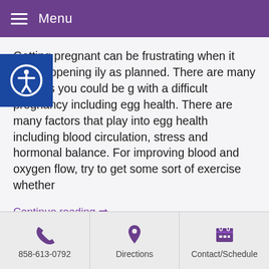Menu
Getting pregnant can be frustrating when it isn't happening ily as planned. There are many reasons you could be g with a difficult pregnancy including egg health. There are many factors that play into egg health including blood circulation, stress and hormonal balance. For improving blood and oxygen flow, try to get some sort of exercise whether
Continue reading →
Posted in Health, Wellness | Also tagged women's health Comments Off